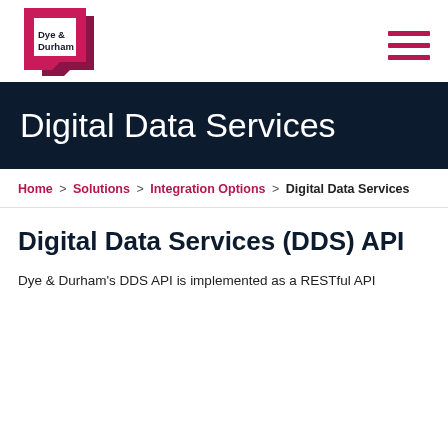Dye & Durham [logo] [hamburger menu]
Digital Data Services
Home > Solutions > Integration Options > Digital Data Services
Digital Data Services (DDS) API
Dye & Durham's DDS API is implemented as a RESTful API